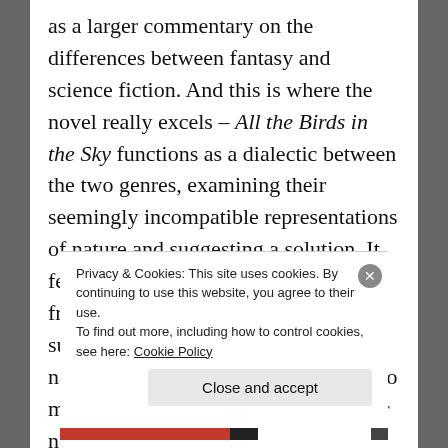as a larger commentary on the differences between fantasy and science fiction. And this is where the novel really excels – All the Birds in the Sky functions as a dialectic between the two genres, examining their seemingly incompatible representations of nature and suggesting a solution. It feels particularly relevant to our fractured modern world, as we seek sustainable ways of co-existing with nature whilst also searching for ways to manipulate the environment to suit our needs.
Privacy & Cookies: This site uses cookies. By continuing to use this website, you agree to their use.
To find out more, including how to control cookies, see here: Cookie Policy
Close and accept